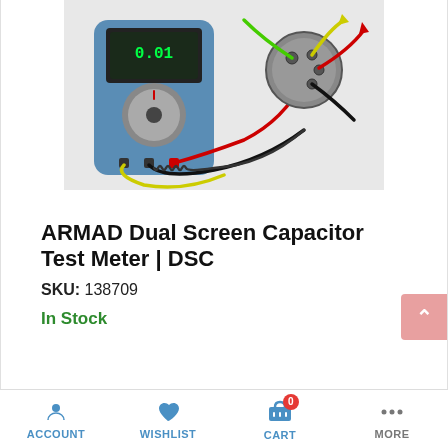[Figure (photo): Photo of ARMAD Dual Screen Capacitor Test Meter (DSC) — a blue digital multimeter with yellow, black, and red test leads connected to a circular capacitor component with colorful alligator clips]
ARMAD Dual Screen Capacitor Test Meter | DSC
SKU: 138709
In Stock
ACCOUNT   WISHLIST   CART 0   MORE